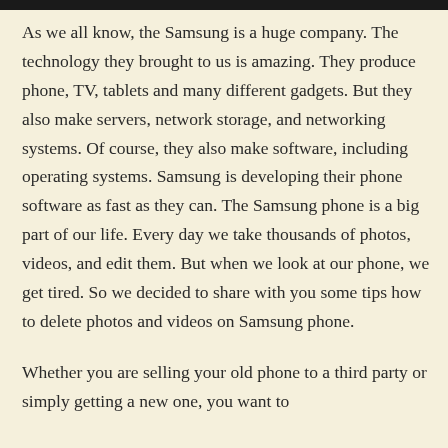As we all know, the Samsung is a huge company. The technology they brought to us is amazing. They produce phone, TV, tablets and many different gadgets. But they also make servers, network storage, and networking systems. Of course, they also make software, including operating systems. Samsung is developing their phone software as fast as they can. The Samsung phone is a big part of our life. Every day we take thousands of photos, videos, and edit them. But when we look at our phone, we get tired. So we decided to share with you some tips how to delete photos and videos on Samsung phone.
Whether you are selling your old phone to a third party or simply getting a new one, you want to